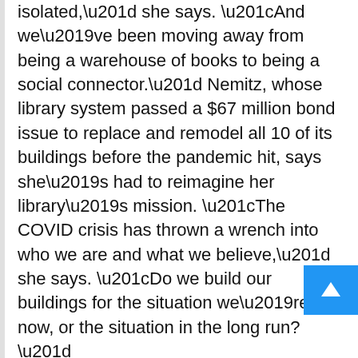isolated,” she says. “And we’ve been moving away from being a warehouse of books to being a social connector.” Nemitz, whose library system passed a $67 million bond issue to replace and remodel all 10 of its buildings before the pandemic hit, says she’s had to reimagine her library’s mission. “The COVID crisis has thrown a wrench into who we are and what we believe,” she says. “Do we build our buildings for the situation we’re in now, or the situation in the long run?”
The answer may be both. “This will not last forever,” says Amanda Markovic, architect and associate principal at GBBN Architects, a multinational architecture and interior design firm that has built multiple libraries and civic spaces around the country. “But there’s a possibility this will happen again. So I think [design] is about